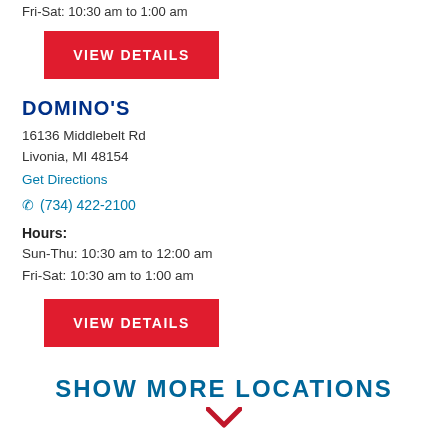Fri-Sat: 10:30 am to 1:00 am
VIEW DETAILS
DOMINO'S
16136 Middlebelt Rd
Livonia, MI 48154
Get Directions
(734) 422-2100
Hours:
Sun-Thu: 10:30 am to 12:00 am
Fri-Sat: 10:30 am to 1:00 am
VIEW DETAILS
SHOW MORE LOCATIONS